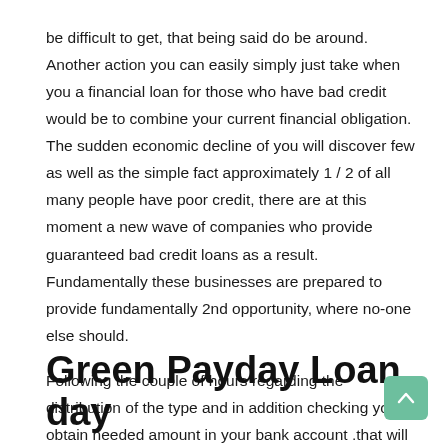be difficult to get, that being said do be around. Another action you can easily simply just take when you a financial loan for those who have bad credit would be to combine your current financial obligation. The sudden economic decline of you will discover few as well as the simple fact approximately 1 / 2 of all many people have poor credit, there are at this moment a new wave of companies who provide guaranteed bad credit loans as a result. Fundamentally these businesses are prepared to provide fundamentally 2nd opportunity, where no-one else should.
Following the couple of hours regarding the distribution of the type and in addition checking you obtain needed amount in your bank account .that will help you in duration if they want it. That a center for those who is sold with the bad and bad score and for those who have good credit file ..
Green Payday Loan day